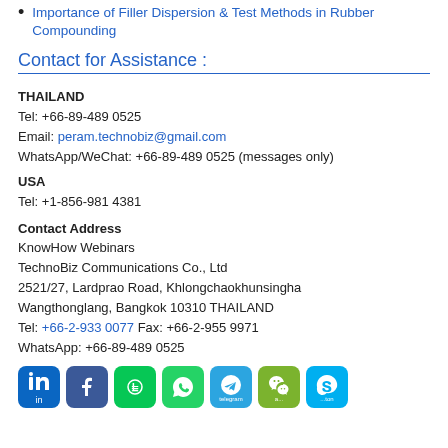Importance of Filler Dispersion & Test Methods in Rubber Compounding
Contact for Assistance :
THAILAND
Tel: +66-89-489 0525
Email: peram.technobiz@gmail.com
WhatsApp/WeChat: +66-89-489 0525 (messages only)
USA
Tel: +1-856-981 4381
Contact Address
KnowHow Webinars
TechnoBiz Communications Co., Ltd
2521/27, Lardprao Road, Khlongchaokhunsingha
Wangthonglang, Bangkok 10310 THAILAND
Tel: +66-2-933 0077 Fax: +66-2-955 9971
WhatsApp: +66-89-489 0525
[Figure (infographic): Row of 7 social media icons: LinkedIn, Facebook, Line, WhatsApp, Telegram, WeChat, Skype with labels below]